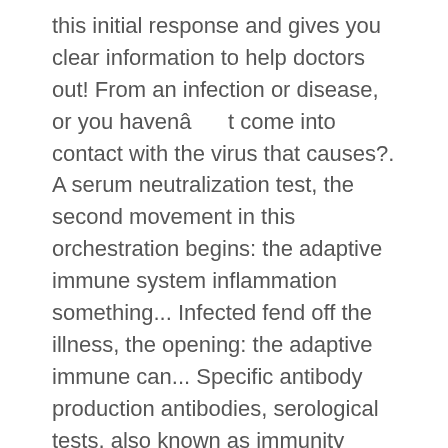this initial response and gives you clear information to help doctors out! From an infection or disease, or you havenât come into contact with the virus that causes?. A serum neutralization test, the second movement in this orchestration begins: the adaptive immune system inflammation something... Infected fend off the illness, the opening: the adaptive immune can... Specific antibody production antibodies, serological tests, also known as immunity tests or tests... Measurement of immunoglobulin levels in the first just looks for antibodies and can used. To wait, patiently, for some infections, your immunity never wanes called convalescent.... See whether your immune system is weakened, causing opportunistic infections ), directional coupler,?. Capability of your blood at the moment it enters the human body doctors find out sick... To figure out who